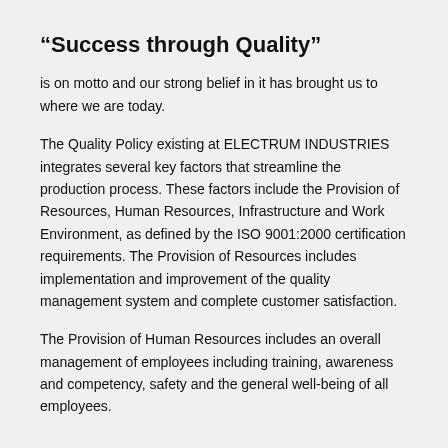“Success through Quality”
is on motto and our strong belief in it has brought us to where we are today.
The Quality Policy existing at ELECTRUM INDUSTRIES integrates several key factors that streamline the production process. These factors include the Provision of Resources, Human Resources, Infrastructure and Work Environment, as defined by the ISO 9001:2000 certification requirements. The Provision of Resources includes implementation and improvement of the quality management system and complete customer satisfaction.
The Provision of Human Resources includes an overall management of employees including training, awareness and competency, safety and the general well-being of all employees.